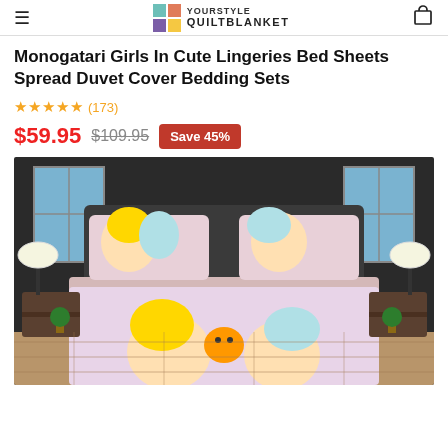YOURSTYLE QUILTBLANKET
Monogatari Girls In Cute Lingeries Bed Sheets Spread Duvet Cover Bedding Sets
★★★★★ (173)
$59.95  $109.95  Save 45%
[Figure (photo): Product photo of anime-themed bedding set showing a bed with anime girl character pillowcases and duvet cover in a bedroom setting with nightstands and lamps]